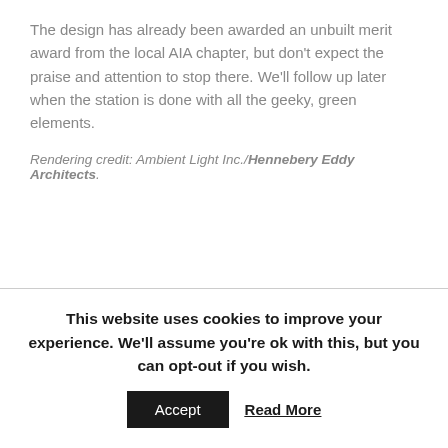The design has already been awarded an unbuilt merit award from the local AIA chapter, but don't expect the praise and attention to stop there.  We'll follow up later when the station is done with all the geeky, green elements.
Rendering credit: Ambient Light Inc./Hennebery Eddy Architects.
This website uses cookies to improve your experience. We'll assume you're ok with this, but you can opt-out if you wish.